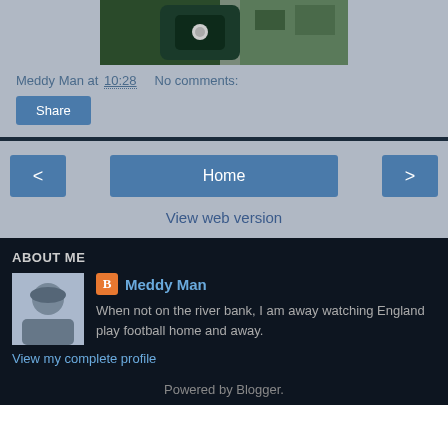[Figure (photo): Partial photo of a dark green bag/backpack on grass, cropped]
Meddy Man at 10:28   No comments:
Share
< Home >
View web version
ABOUT ME
[Figure (photo): Profile photo of a man wearing a hat and sunglasses outdoors]
Meddy Man
When not on the river bank, I am away watching England play football home and away.
View my complete profile
Powered by Blogger.